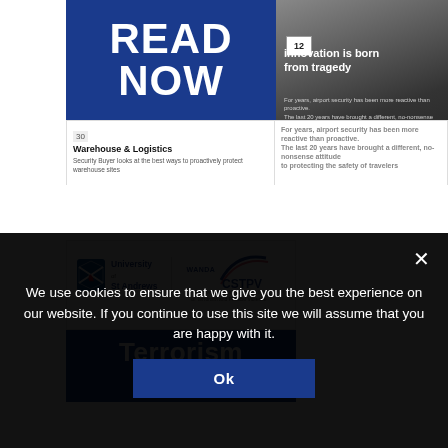[Figure (screenshot): Blue 'READ NOW' promotional block on left, with a warehouse and logistics magazine strip below, and a right panel showing dark photo with '12' badge and text 'innovation is born from tragedy' with subtext about traveler safety.]
[Figure (logo): University of St Andrews shield logo alongside WANDA CSTPV (Centre for the Study of Terrorism and Political Violence) arc logo with tagline.]
Terrorism Studies
We use cookies to ensure that we give you the best experience on our website. If you continue to use this site we will assume that you are happy with it.